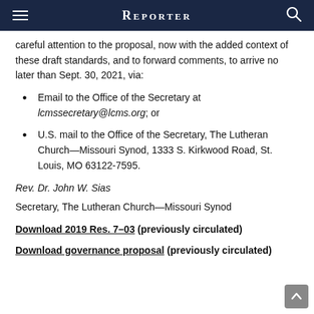REPORTER
careful attention to the proposal, now with the added context of these draft standards, and to forward comments, to arrive no later than Sept. 30, 2021, via:
Email to the Office of the Secretary at lcmssecretary@lcms.org; or
U.S. mail to the Office of the Secretary, The Lutheran Church—Missouri Synod, 1333 S. Kirkwood Road, St. Louis, MO 63122-7595.
Rev. Dr. John W. Sias
Secretary, The Lutheran Church—Missouri Synod
Download 2019 Res. 7–03 (previously circulated)
Download governance proposal (previously circulated)